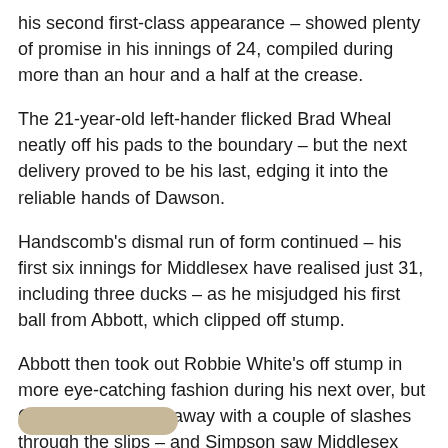his second first-class appearance – showed plenty of promise in his innings of 24, compiled during more than an hour and a half at the crease.
The 21-year-old left-hander flicked Brad Wheal neatly off his pads to the boundary – but the next delivery proved to be his last, edging it into the reliable hands of Dawson.
Handscomb's dismal run of form continued – his first six innings for Middlesex have realised just 31, including three ducks – as he misjudged his first ball from Abbott, which clipped off stump.
Abbott then took out Robbie White's off stump in more eye-catching fashion during his next over, but Gubbins – who got away with a couple of slashes through the slips – and Simpson saw Middlesex through to the close.